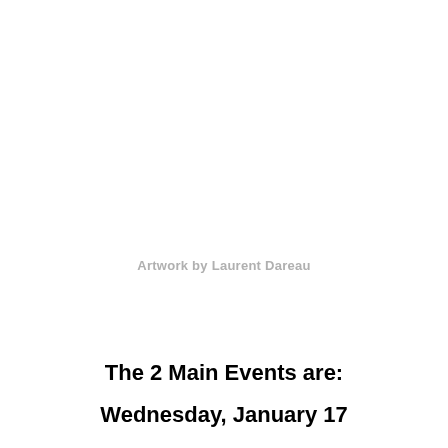Artwork by Laurent Dareau
The 2 Main Events are:
Wednesday, January 17